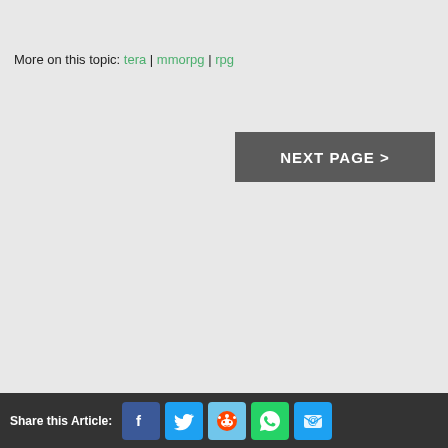More on this topic: tera | mmorpg | rpg
NEXT PAGE >
Share this Article: [Facebook] [Twitter] [Reddit] [WhatsApp] [Email]